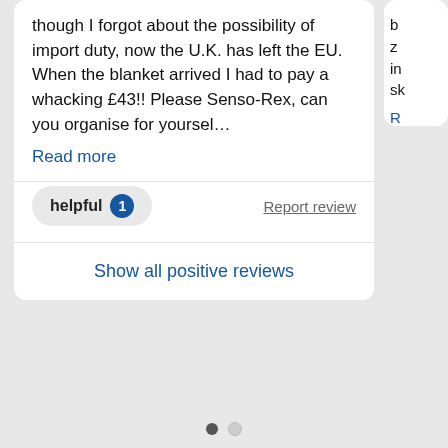though I forgot about the possibility of import duty, now the U.K. has left the EU. When the blanket arrived I had to pay a whacking £43!! Please Senso-Rex, can you organise for yoursel…
Read more
helpful 1   Report review
Show all positive reviews
Reviews for senso-rex.com
Filter ∨   Sort by Latest first ∨
★★★★★ (13) ×   ★★★★☆ (6) ×